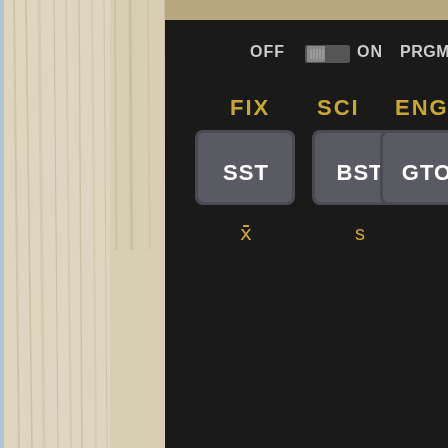[Figure (photo): Close-up photo of a vintage HP calculator keypad showing SST, BST, GTO keys with FIX, SCI, ENG labels above them and OFF/ON/PRGM switch at top. Wood grain surface visible on left side.]
But once I press Enter or any function, I get this "decimal-point-inversi
[Figure (photo): Bottom partial photo showing another view of the vintage calculator on wood grain surface.]